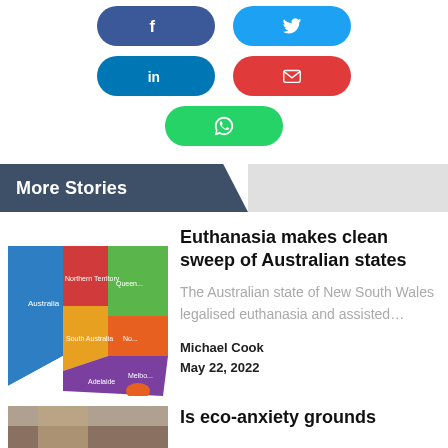[Figure (infographic): Social media share buttons: Facebook (dark blue), Twitter (light blue), LinkedIn (blue), Email (red), WhatsApp (green)]
More Stories
[Figure (map): Colorful map of Australian states and territories]
Euthanasia makes clean sweep of Australian states
The Australian state of New South Wales legalised euthanasia and assisted…
Michael Cook
May 22, 2022
[Figure (photo): Partial thumbnail image for second story]
Is eco-anxiety grounds